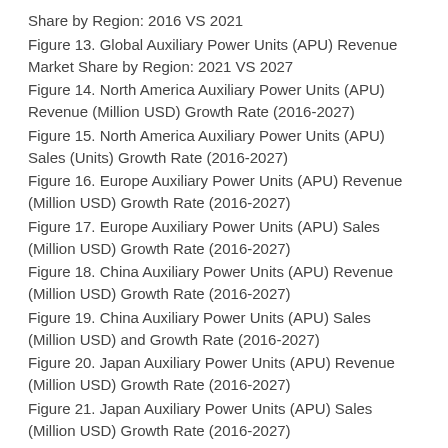Share by Region: 2016 VS 2021
Figure 13. Global Auxiliary Power Units (APU) Revenue Market Share by Region: 2021 VS 2027
Figure 14. North America Auxiliary Power Units (APU) Revenue (Million USD) Growth Rate (2016-2027)
Figure 15. North America Auxiliary Power Units (APU) Sales (Units) Growth Rate (2016-2027)
Figure 16. Europe Auxiliary Power Units (APU) Revenue (Million USD) Growth Rate (2016-2027)
Figure 17. Europe Auxiliary Power Units (APU) Sales (Million USD) Growth Rate (2016-2027)
Figure 18. China Auxiliary Power Units (APU) Revenue (Million USD) Growth Rate (2016-2027)
Figure 19. China Auxiliary Power Units (APU) Sales (Million USD) and Growth Rate (2016-2027)
Figure 20. Japan Auxiliary Power Units (APU) Revenue (Million USD) Growth Rate (2016-2027)
Figure 21. Japan Auxiliary Power Units (APU) Sales (Million USD) Growth Rate (2016-2027)
Figure 22. Southeast Asia Auxiliary Power Units (APU)